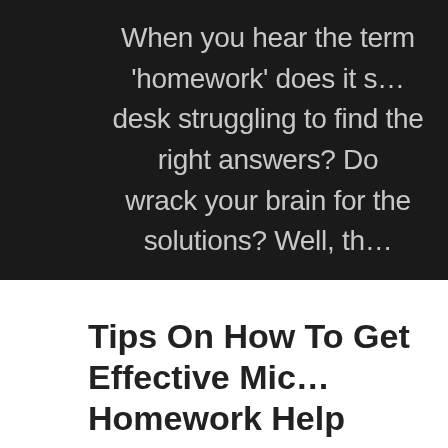When you hear the term 'homework' does it s… desk struggling to find the right answers? Do… wrack your brain for the solutions? Well, th…
Tips On How To Get Effective Mic… Homework Help
If you are taking a course in microeconomics there has probably com… with an assignment but you never knew where to look. This is one of t… best to make sure that you can work with the little pressures that sh…